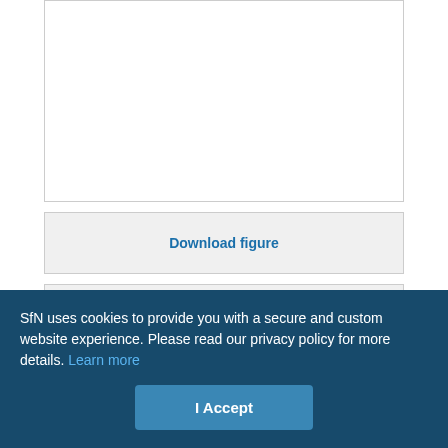[Figure (other): Top portion of Figure 5 figure panel (partially visible, cropped at top of page)]
Download figure
Open in new tab
Download powerpoint
Figure 5.
On DSGCs are structurally resistant to the early phase of elevated IOP. A–F, Same format as for Figure 3 but GFP cells are On DSGCs from Hoxd10-GFP mice. G–K, Quantification of various morphological parameters.
SfN uses cookies to provide you with a secure and custom website experience. Please read our privacy policy for more details. Learn more